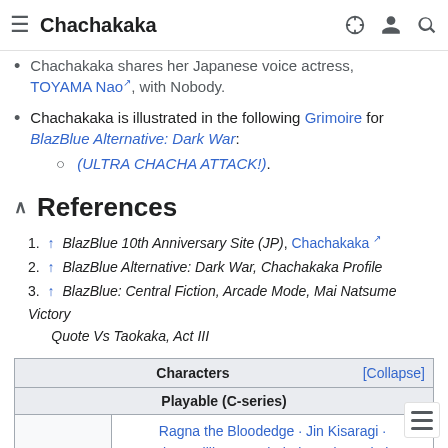Chachakaka
Chachakaka shares her Japanese voice actress, TOYAMA Nao, with Nobody.
Chachakaka is illustrated in the following Grimoire for BlazBlue Alternative: Dark War:
(ULTRA CHACHA ATTACK!).
References
1. ↑ BlazBlue 10th Anniversary Site (JP), Chachakaka
2. ↑ BlazBlue Alternative: Dark War, Chachakaka Profile
3. ↑ BlazBlue: Central Fiction, Arcade Mode, Mai Natsume Victory Quote Vs Taokaka, Act III
| Characters | [Collapse] |
| --- | --- |
| Playable (C-series) |  |
| BBCT | Ragna the Bloodedge · Jin Kisaragi · Noel Vermillion · Rachel Alucard · Taokaka · Iron Tager · Litchi Faye-Ling · Arakune · Bang Shishigami · Carl Clover · Hakumen · |